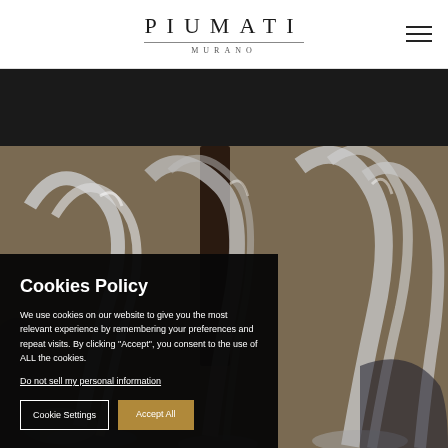[Figure (logo): PIUMATI MURANO logo with horizontal lines, serif uppercase lettering]
[Figure (photo): Close-up photograph of Murano glass objects — curved chrome/clear glass stems and bases arranged together, blurred background]
Cookies Policy
We use cookies on our website to give you the most relevant experience by remembering your preferences and repeat visits. By clicking "Accept", you consent to the use of ALL the cookies.
Do not sell my personal information
Cookie Settings
Accept All